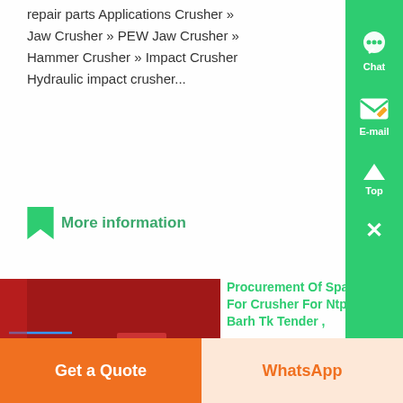repair parts Applications Crusher » Jaw Crusher » PEW Jaw Crusher » Hammer Crusher » Impact Crusher Hydraulic impact crusher...
More information
[Figure (photo): Close-up photo of industrial electronic/electrical components including red casing, wiring and connectors, resembling crusher control or relay panel.]
Procurement Of Spares For Crusher For Ntpc Barh Tk Tender ,
May 07, 2020· NTPCL Procurement Spares For Crusher For Ntpc Barh Tkk72x114 Screen Plate Tkk72x114 Screeen Plate Tkk72x114 Front Hopper Liner T , Due Date: 20-05-